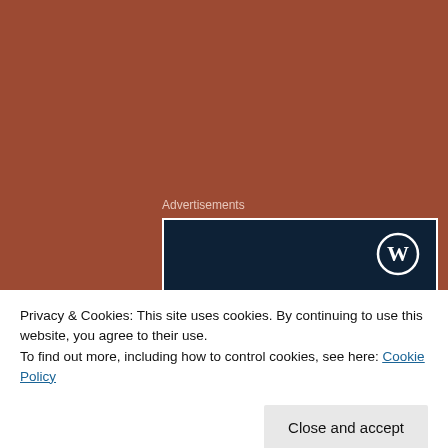Advertisements
[Figure (illustration): WordPress advertisement banner with dark navy background, WordPress logo (W in circle) at top right, and text 'Opinions. We all have them!' in white serif font]
Privacy & Cookies: This site uses cookies. By continuing to use this website, you agree to their use.
To find out more, including how to control cookies, see here: Cookie Policy
Close and accept